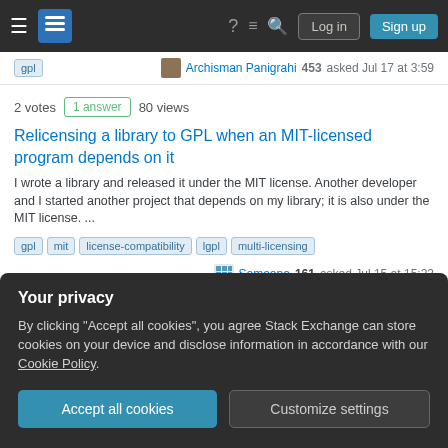Stack Exchange navigation bar with Log in and Sign up buttons
gpl  Archisman Panigrahi 453 asked Jul 17 at 3:59
2 votes  1 answer  80 views
Relicensing a library to GPL when an MIT-licensed program depends on it
I wrote a library and released it under the MIT license. Another developer and I started another project that depends on my library; it is also under the MIT license. ...
gpl   mit   license-compatibility   lgpl   multi-licensing
Someone 161 asked Jul 15 at 15:23
Your privacy
By clicking "Accept all cookies", you agree Stack Exchange can store cookies on your device and disclose information in accordance with our Cookie Policy.
Accept all cookies   Customize settings